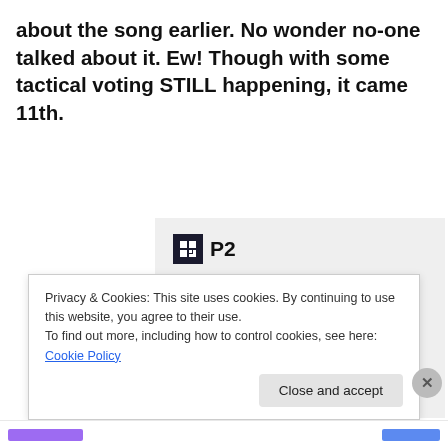about the song earlier. No wonder no-one talked about it. Ew! Though with some tactical voting STILL happening, it came 11th.
[Figure (screenshot): P2 advertisement banner with logo, headline 'Getting your team on the same page is easy. And free.' and circular avatar images of people.]
Privacy & Cookies: This site uses cookies. By continuing to use this website, you agree to their use.
To find out more, including how to control cookies, see here: Cookie Policy
Close and accept